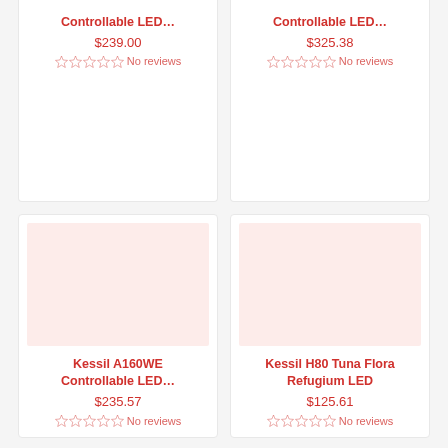Controllable LED... $239.00 No reviews
Controllable LED... $325.38 No reviews
[Figure (photo): Product image placeholder (light pink background) for Kessil A160WE Controllable LED]
Kessil A160WE Controllable LED... $235.57 No reviews
[Figure (photo): Product image placeholder (light pink background) for Kessil H80 Tuna Flora Refugium LED]
Kessil H80 Tuna Flora Refugium LED $125.61 No reviews